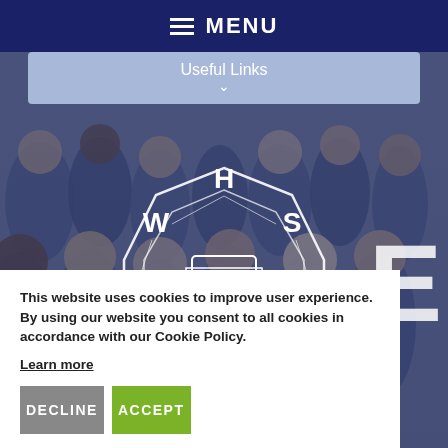MENU
Useful Links
[Figure (logo): Woodcote High School logo with WHASPIRE letters in octagonal geometric shape]
This website uses cookies to improve user experience. By using our website you consent to all cookies in accordance with our Cookie Policy. Learn more
DECLINE
ACCEPT